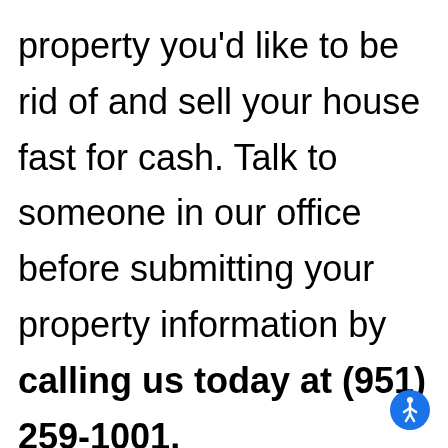property you'd like to be rid of and sell your house fast for cash. Talk to someone in our office before submitting your property information by calling us today at (951) 259-1001.
[Figure (illustration): Blue circular accessibility icon with white wheelchair user symbol]